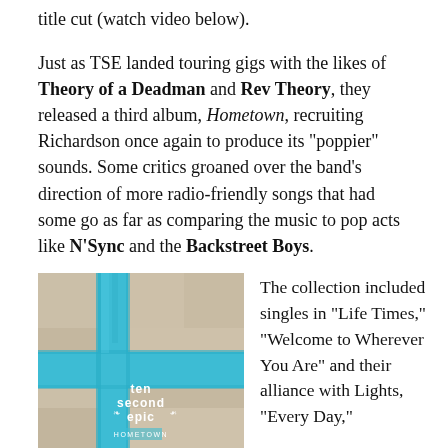title cut (watch video below).
Just as TSE landed touring gigs with the likes of Theory of a Deadman and Rev Theory, they released a third album, Hometown, recruiting Richardson once again to produce its "poppier" sounds. Some critics groaned over the band's direction of more radio-friendly songs that had some go as far as comparing the music to pop acts like N'Sync and the Backstreet Boys.
[Figure (photo): Album cover for Ten Second Epic - Hometown, showing a blue painted cross on a stone/concrete wall with the text 'ten second epic HOMETOWN' overlaid in white.]
The collection included singles in "Life Times," "Welcome to Wherever You Are" and their alliance with Lights, "Every Day,"